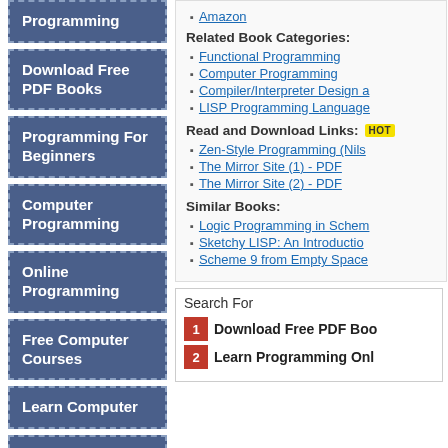Programming
Download Free PDF Books
Programming For Beginners
Computer Programming
Online Programming
Free Computer Courses
Learn Computer
Online Coding Courses
Related Book Categories:
Functional Programming
Computer Programming
Compiler/Interpreter Design a
LISP Programming Language
Read and Download Links: HOT
Zen-Style Programming (Nils
The Mirror Site (1) - PDF
The Mirror Site (2) - PDF
Similar Books:
Logic Programming in Schem
Sketchy LISP: An Introductio
Scheme 9 from Empty Space
Search For
1 Download Free PDF Boo
2 Learn Programming Onl